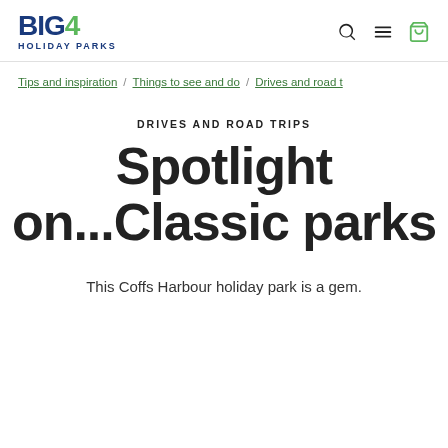BIG4 HOLIDAY PARKS
Tips and inspiration / Things to see and do / Drives and road t
DRIVES AND ROAD TRIPS
Spotlight on...Classic parks
This Coffs Harbour holiday park is a gem.